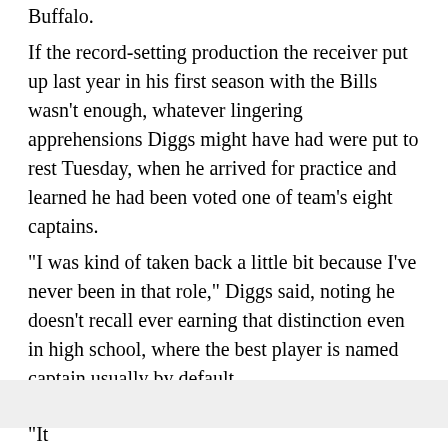Buffalo.
If the record-setting production the receiver put up last year in his first season with the Bills wasn't enough, whatever lingering apprehensions Diggs might have had were put to rest Tuesday, when he arrived for practice and learned he had been voted one of team's eight captains.
"I was kind of taken back a little bit because I've never been in that role," Diggs said, noting he doesn't recall ever earning that distinction even in high school, where the best player is named captain usually by default.
"It...